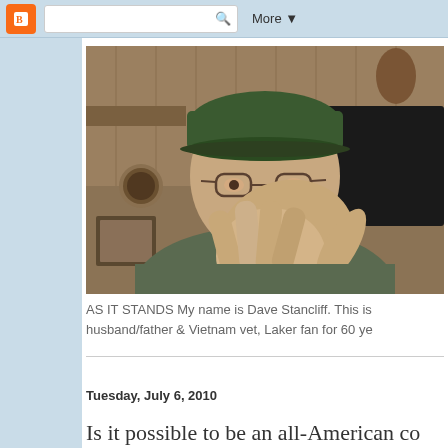Blogger navigation bar with logo, search box, and More dropdown
[Figure (photo): A man wearing a green baseball cap and glasses, holding up his hand toward the camera with fingers spread, in an indoor setting with wood paneling in the background]
AS IT STANDS My name is Dave Stancliff. This is husband/father & Vietnam vet, Laker fan for 60 ye
Is it possible to be an all-American co